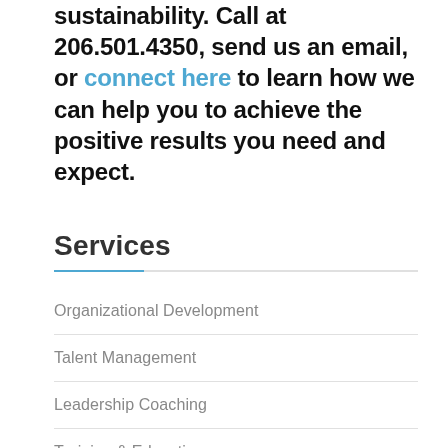sustainability. Call at 206.501.4350, send us an email, or connect here to learn how we can help you to achieve the positive results you need and expect.
Services
Organizational Development
Talent Management
Leadership Coaching
Training & Education
Retained HR Services